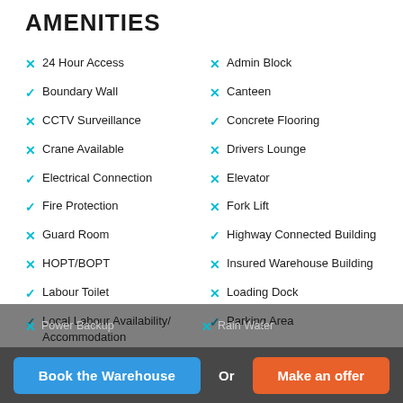AMENITIES
✕ 24 Hour Access
✕ Admin Block
✓ Boundary Wall
✕ Canteen
✕ CCTV Surveillance
✓ Concrete Flooring
✕ Crane Available
✕ Drivers Lounge
✓ Electrical Connection
✕ Elevator
✓ Fire Protection
✕ Fork Lift
✕ Guard Room
✓ Highway Connected Building
✕ HOPT/BOPT
✕ Insured Warehouse Building
✓ Labour Toilet
✕ Loading Dock
✓ Local Labour Availability/Accommodation
✓ Parking Area
✕ Power Backup
✕ Rain Water
Book the Warehouse  Or  Make an offer